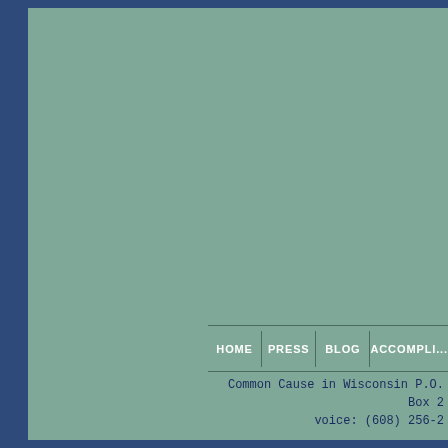[Figure (screenshot): Website navigation bar with green/teal background. Navigation items: HOME, PRESS, BLOG, ACCOMPLI... (truncated). Dark blue border on left side.]
Common Cause in Wisconsin P.O. Box 2 voice: (608) 256-2